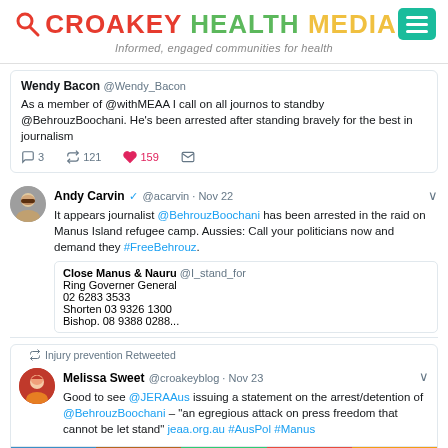CROAKEY HEALTH MEDIA
Informed, engaged communities for health
Wendy Bacon @Wendy_Bacon
As a member of @withMEAA I call on all journos to standby @BehrouzBoochani. He's been arrested after standing bravely for the best in journalism
3 · 121 · 159
Andy Carvin @acarvin · Nov 22
It appears journalist @BehrouzBoochani has been arrested in the raid on Manus Island refugee camp. Aussies: Call your politicians now and demand they #FreeBehrouz.

Close Manus & Nauru @I_stand_for
Ring Governer General
02 6283 3533
Shorten 03 9326 1300
Bishop. 08 9388 0288...
Injury prevention Retweeted
Melissa Sweet @croakeyblog · Nov 23
Good to see @JERAAus issuing a statement on the arrest/detention of @BehrouzBoochani – "an egregious attack on press freedom that cannot be let stand" jeaa.org.au #AusPol #Manus